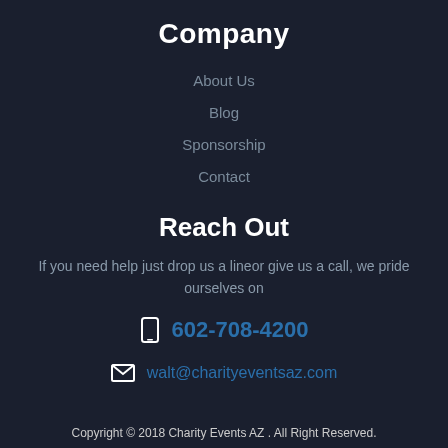Company
About Us
Blog
Sponsorship
Contact
Reach Out
If you need help just drop us a lineor give us a call, we pride ourselves on
602-708-4200
walt@charityeventsaz.com
Copyright © 2018 Charity Events AZ . All Right Reserved.